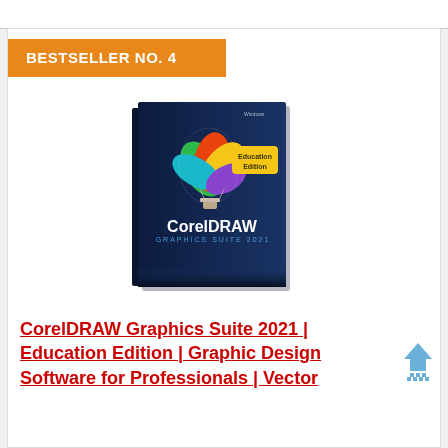BESTSELLER NO. 4
[Figure (photo): CorelDRAW Graphics Suite 2021 Education Edition software box with hot air balloon logo on dark navy blue background, with yellow 'Education Edition' badge]
CorelDRAW Graphics Suite 2021 | Education Edition | Graphic Design Software for Professionals | Vector